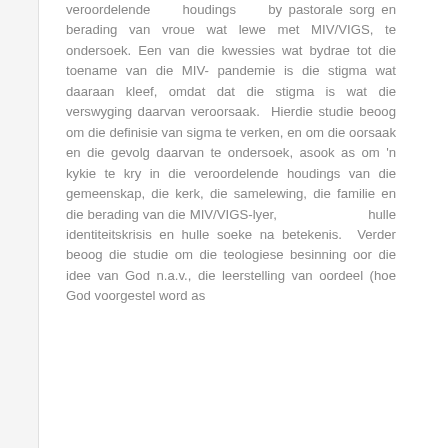veroordelende houdings by pastorale sorg en berading van vroue wat lewe met MIV/VIGS, te ondersoek. Een van die kwessies wat bydrae tot die toename van die MIV- pandemie is die stigma wat daaraan kleef, omdat dat die stigma is wat die verswyging daarvan veroorsaak. Hierdie studie beoog om die definisie van sigma te verken, en om die oorsaak en die gevolg daarvan te ondersoek, asook as om 'n kykie te kry in die veroordelende houdings van die gemeenskap, die kerk, die samelewing, die familie en die berading van die MIV/VIGS-lyer, hulle identiteitskrisis en hulle soeke na betekenis. Verder beoog die studie om die teologiese besinning oor die idee van God n.a.v., die leerstelling van oordeel (hoe God voorgestel word as